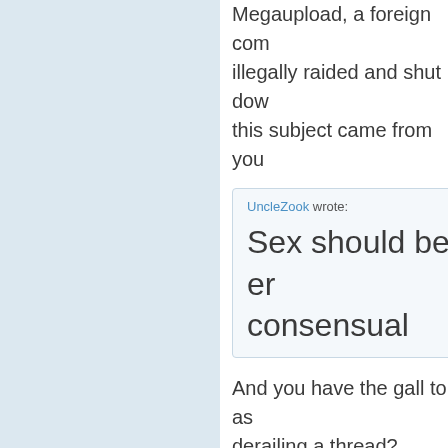Megaupload, a foreign company, illegally raided and shut down. this subject came from you
UncleZook wrote: Sex should be en... consensual
And you have the gall to as... derailing a thread?
Informing a thread is not the sa... sex is one of the things that ma... Conflict of interest, e.g. making... society considers illicit activity...